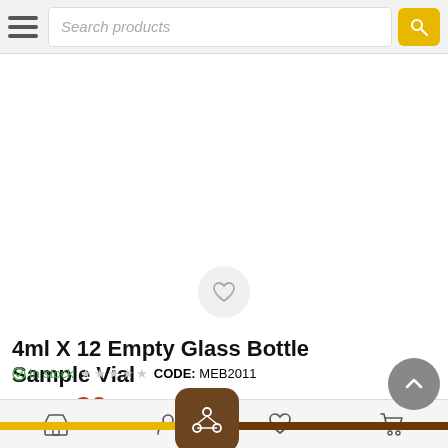Search products
[Figure (photo): Empty product image area with heart/wishlist button]
4ml X 12 Empty Glass Bottle Sample Vial
In stock  CODE: MEB2011
ر.س 20 00  (ر.س 23 00 tax)
Bottom navigation bar with store, profile, wishlist, cart icons